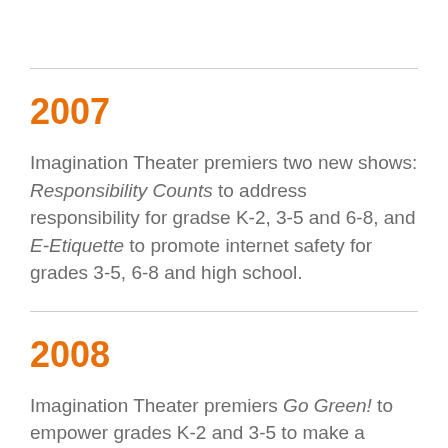2007
Imagination Theater premiers two new shows: Responsibility Counts to address responsibility for gradse K-2, 3-5 and 6-8, and E-Etiquette to promote internet safety for grades 3-5, 6-8 and high school.
2008
Imagination Theater premiers Go Green! to empower grades K-2 and 3-5 to make a positive impact on